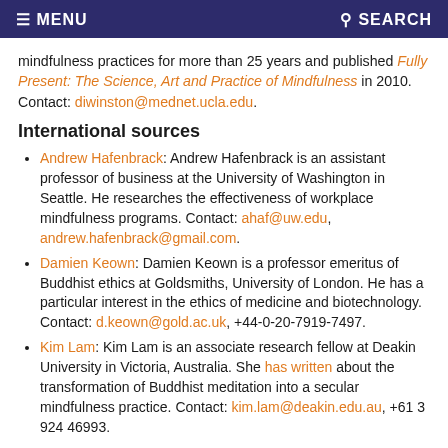MENU  SEARCH
mindfulness practices for more than 25 years and published Fully Present: The Science, Art and Practice of Mindfulness in 2010. Contact: diwinston@mednet.ucla.edu.
International sources
Andrew Hafenbrack: Andrew Hafenbrack is an assistant professor of business at the University of Washington in Seattle. He researches the effectiveness of workplace mindfulness programs. Contact: ahaf@uw.edu, andrew.hafenbrack@gmail.com.
Damien Keown: Damien Keown is a professor emeritus of Buddhist ethics at Goldsmiths, University of London. He has a particular interest in the ethics of medicine and biotechnology. Contact: d.keown@gold.ac.uk, +44-0-20-7919-7497.
Kim Lam: Kim Lam is an associate research fellow at Deakin University in Victoria, Australia. She has written about the transformation of Buddhist meditation into a secular mindfulness practice. Contact: kim.lam@deakin.edu.au, +61 3 924 46993.